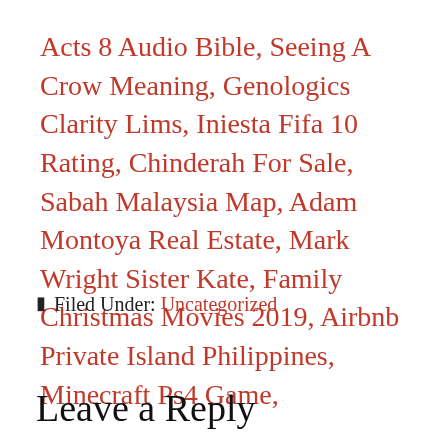Acts 8 Audio Bible, Seeing A Crow Meaning, Genologics Clarity Lims, Iniesta Fifa 10 Rating, Chinderah For Sale, Sabah Malaysia Map, Adam Montoya Real Estate, Mark Wright Sister Kate, Family Christmas Movies 2019, Airbnb Private Island Philippines, Minecraft Ps4 Game,
Filed Under: Uncategorized
Leave a Reply